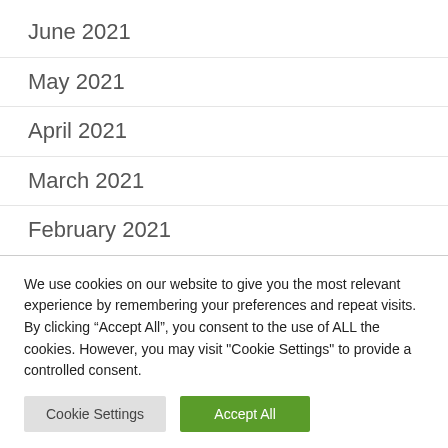June 2021
May 2021
April 2021
March 2021
February 2021
October 2020
July 2020
April 2020
We use cookies on our website to give you the most relevant experience by remembering your preferences and repeat visits. By clicking “Accept All”, you consent to the use of ALL the cookies. However, you may visit "Cookie Settings" to provide a controlled consent.